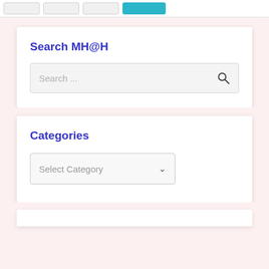[Figure (screenshot): Top navigation bar with four buttons, the last one teal/cyan colored]
Search MH@H
[Figure (screenshot): Search input box with placeholder text 'Search ...' and a magnifying glass icon on the right]
Categories
[Figure (screenshot): Dropdown select box with placeholder 'Select Category' and a chevron/down arrow]